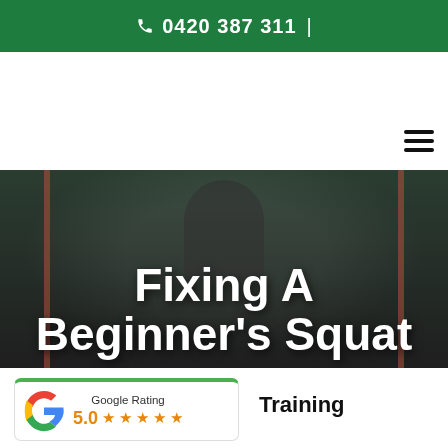📞 0420 387 311 |
Fixing A Beginner's Squat
[Figure (screenshot): Google Rating widget showing 5.0 stars with Google G logo]
Training
Paul Attard  Dec 23, 2020  2 min